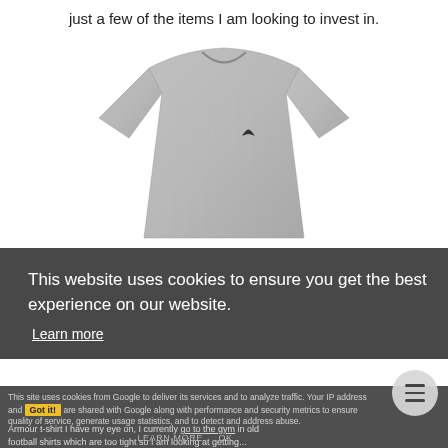just a few of the items I am looking to invest in.
[Figure (photo): Gray Under Armour athletic t-shirt product photo on white background]
This website uses cookies to ensure you get the best experience on our website.
Learn more
This site uses cookies from Google to deliver its services and to analyze traffic. Your IP address and agent are shared with Google along with performance and security metrics to ensure quality of service, generate usage statistics, and to detect and address abuse.
Got it!
Armour t-shirt I have my eye on, I currently go to the gym in old football shirts which are too tight so I am looking at getting...
LEARN MORE    OK